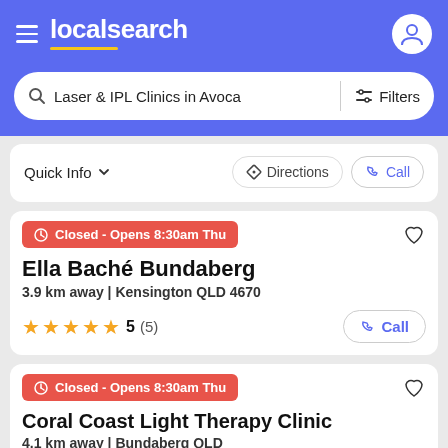localsearch
Laser & IPL Clinics in Avoca — Filters
Quick Info  Directions  Call
Closed - Opens 8:30am Thu
Ella Baché Bundaberg
3.9 km away | Kensington QLD 4670
★★★★★ 5 (5)  Call
Closed - Opens 8:30am Thu
Coral Coast Light Therapy Clinic
4.1 km away | Bundaberg QLD
★★★★★ 5 (1)  Call